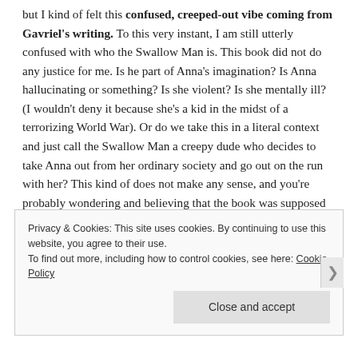but I kind of felt this confused, creeped-out vibe coming from Gavriel's writing. To this very instant, I am still utterly confused with who the Swallow Man is. This book did not do any justice for me. Is he part of Anna's imagination? Is Anna hallucinating or something? Is she violent? Is she mentally ill? (I wouldn't deny it because she's a kid in the midst of a terrorizing World War). Or do we take this in a literal context and just call the Swallow Man a creepy dude who decides to take Anna out from her ordinary society and go out on the run with her? This kind of does not make any sense, and you're probably wondering and believing that the book was supposed to answer those questions for me. It did not, at all.
Privacy & Cookies: This site uses cookies. By continuing to use this website, you agree to their use. To find out more, including how to control cookies, see here: Cookie Policy